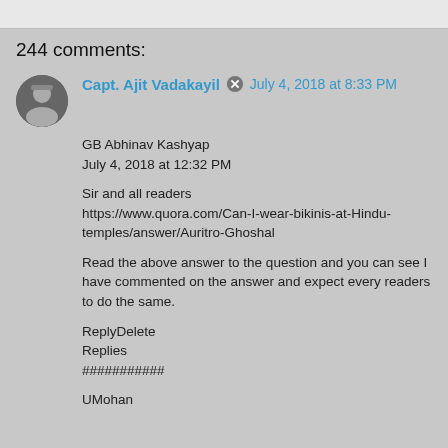244 comments:
Capt. Ajit Vadakayil  July 4, 2018 at 8:33 PM
GB Abhinav Kashyap
July 4, 2018 at 12:32 PM

Sir and all readers
https://www.quora.com/Can-I-wear-bikinis-at-Hindu-temples/answer/Auritro-Ghoshal

Read the above answer to the question and you can see I have commented on the answer and expect every readers to do the same.

ReplyDelete
Replies
###########

UMohan